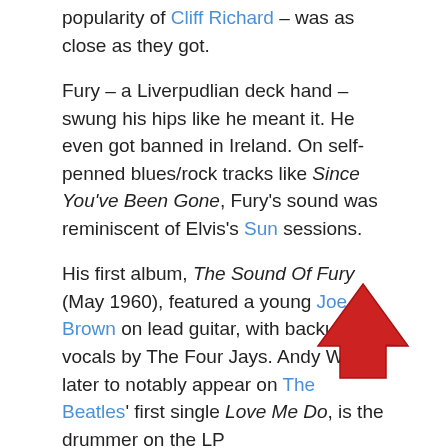popularity of Cliff Richard – was as close as they got.
Fury – a Liverpudlian deck hand – swung his hips like he meant it. He even got banned in Ireland. On self-penned blues/rock tracks like Since You've Been Gone, Fury's sound was reminiscent of Elvis's Sun sessions.
His first album, The Sound Of Fury (May 1960), featured a young Joe Brown on lead guitar, with backup vocals by The Four Jays. Andy White, later to notably appear on The Beatles' first single Love Me Do, is the drummer on the LP
He was also a classy pop crooner: witness Wondrous Place, a mysterious number which belongs in a David Lynch movie. And Halfway To Paradise (#3) – written by Carole King and originally a hit in 1961 for Tony Orlando – is a classic sulky rock 'n' roll love song, sung with real urgency and played with a staccato rhythm
[Figure (illustration): Red upward-pointing arrow icon overlaid on the lower right of the page text]